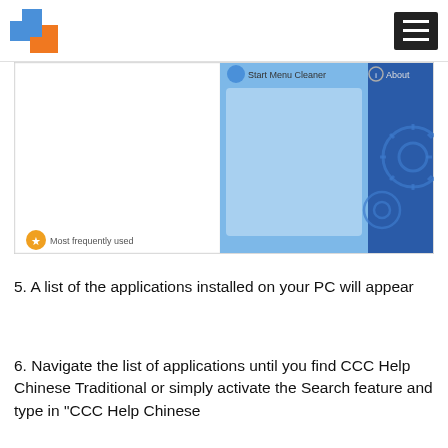[Figure (screenshot): Screenshot of Start Menu Cleaner application interface showing a light blue panel in the center with 'Start Menu Cleaner' label at top, a dark blue panel on the right showing gear/settings icons, and a white panel on the left. At the bottom left is a star icon labeled 'Most frequently used' and at top right of the blue panel is a circle icon labeled 'About'.]
5. A list of the applications installed on your PC will appear
6. Navigate the list of applications until you find CCC Help Chinese Traditional or simply activate the Search feature and type in "CCC Help Chinese